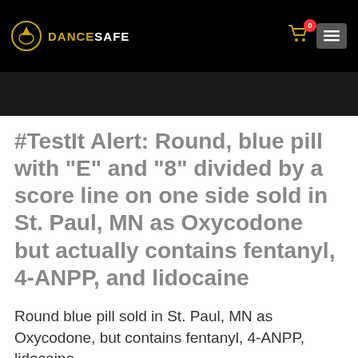DANCESAFE
#TestIt Alert: Round, blue pill with “E” and “8” divided by a score line on one side sold in St. Paul, MN as Oxycodone but actually contains fentanyl, 4-ANPP, and lidocaine
Round blue pill sold in St. Paul, MN as Oxycodone, but contains fentanyl, 4-ANPP, lidocaine.
December 21, 2019